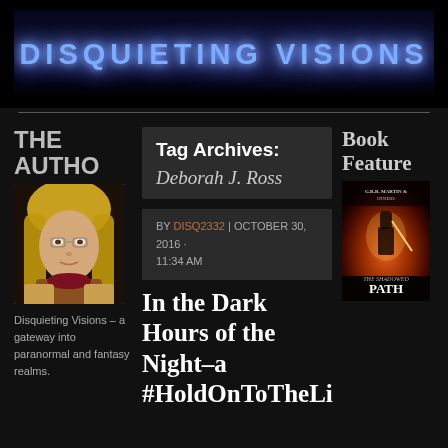[Figure (illustration): Disquieting Visions blog header banner with glowing blue text on dark background with mystical figure silhouette]
DISQUIETING VISIONS
THE AUTHOR
[Figure (photo): Author photo: woman with blonde hair, glasses, tan jacket, burgundy scarf]
Disquieting Visions – a gateway into paranormal and fantasy realms.
Tag Archives:
Deborah J. Ross
BY DISQ2332 | OCTOBER 30, 2016 · 11:34 AM
Book Feature
[Figure (illustration): Book cover: The Shadowed Path, dark fantasy with warrior and sword]
In the Dark Hours of the Night–a #HoldOnToTheLi